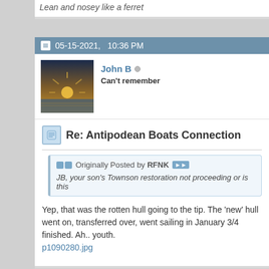Lean and nosey like a ferret
05-15-2021,   10:36 PM
John B   Can't remember
Re: Antipodean Boats Connection
Originally Posted by RFNK
JB, your son's Townson restoration not proceeding or is this
Yep, that was the rotten hull going to the tip. The 'new' hull went on, transferred over, went sailing in January 3/4 finished. Ah.. youth.
p1090280.jpg
05-16-2021,   05:04 AM